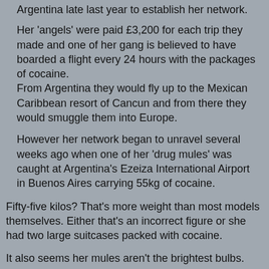Argentina late last year to establish her network.
Her 'angels' were paid £3,200 for each trip they made and one of her gang is believed to have boarded a flight every 24 hours with the packages of cocaine.
From Argentina they would fly up to the Mexican Caribbean resort of Cancun and from there they would smuggle them into Europe.
However her network began to unravel several weeks ago when one of her 'drug mules' was caught at Argentina's Ezeiza International Airport in Buenos Aires carrying 55kg of cocaine.
Fifty-five kilos? That's more weight than most models themselves. Either that's an incorrect figure or she had two large suitcases packed with cocaine.
It also seems her mules aren't the brightest bulbs.
The 21-year-old woman began to talk and within 12 hours police investigators had arrested a